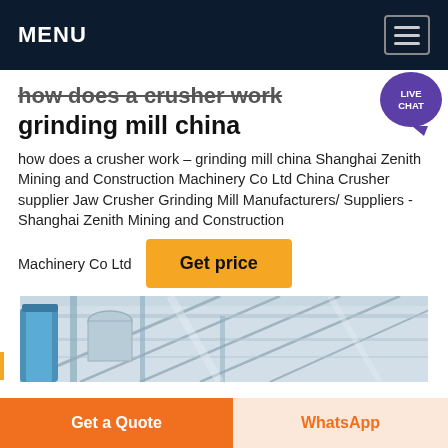MENU
how does a crusher work grinding mill china
how does a crusher work – grinding mill china Shanghai Zenith Mining and Construction Machinery Co Ltd China Crusher supplier Jaw Crusher Grinding Mill Manufacturers/ Suppliers - Shanghai Zenith Mining and Construction Machinery Co Ltd
[Figure (photo): Interior of an industrial facility showing metal roof trusses, ventilation ducts, and structural steel, with blue cylindrical tanks visible on the left side.]
Get a Quote | WhatsApp